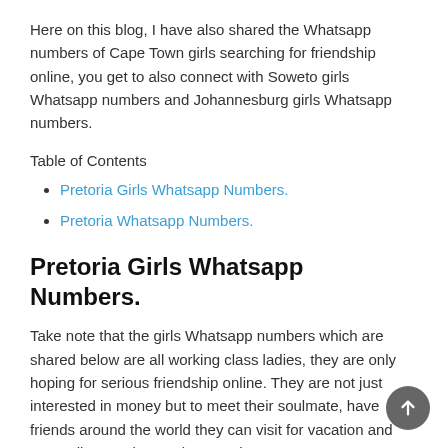Here on this blog, I have also shared the Whatsapp numbers of Cape Town girls searching for friendship online, you get to also connect with Soweto girls Whatsapp numbers and Johannesburg girls Whatsapp numbers.
Table of Contents
Pretoria Girls Whatsapp Numbers.
Pretoria Whatsapp Numbers.
Pretoria Girls Whatsapp Numbers.
Take note that the girls Whatsapp numbers which are shared below are all working class ladies, they are only hoping for serious friendship online. They are not just interested in money but to meet their soulmate, have friends around the world they can visit for vacation and generally meet interesting people.